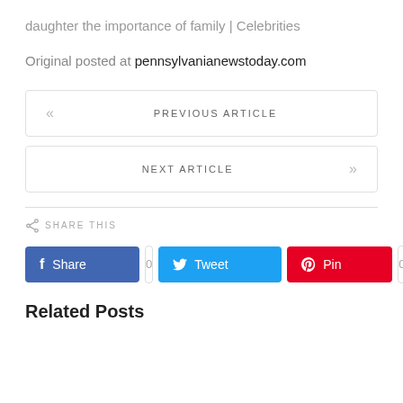daughter the importance of family | Celebrities
Original posted at pennsylvanianewstoday.com
« PREVIOUS ARTICLE
NEXT ARTICLE »
SHARE THIS
Share  0  Tweet  Pin  0
Related Posts